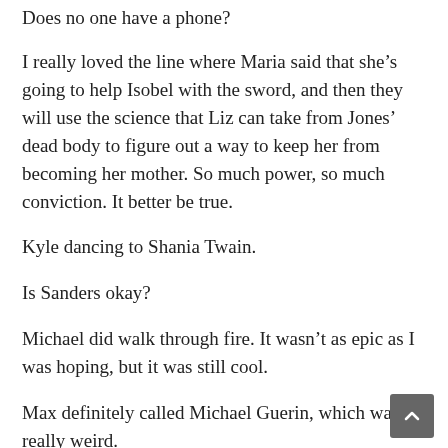Does no one have a phone?
I really loved the line where Maria said that she’s going to help Isobel with the sword, and then they will use the science that Liz can take from Jones’ dead body to figure out a way to keep her from becoming her mother. So much power, so much conviction. It better be true.
Kyle dancing to Shania Twain.
Is Sanders okay?
Michael did walk through fire. It wasn’t as epic as I was hoping, but it was still cool.
Max definitely called Michael Guerin, which was really weird.